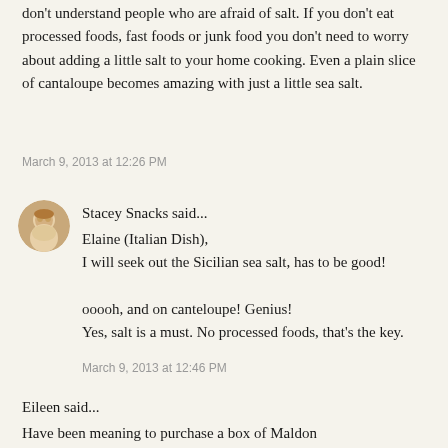don't understand people who are afraid of salt. If you don't eat processed foods, fast foods or junk food you don't need to worry about adding a little salt to your home cooking. Even a plain slice of cantaloupe becomes amazing with just a little sea salt.
March 9, 2013 at 12:26 PM
[Figure (photo): Small circular avatar photo of a woman with blonde hair]
Stacey Snacks said...
Elaine (Italian Dish),
I will seek out the Sicilian sea salt, has to be good!

ooooh, and on canteloupe! Genius!
Yes, salt is a must. No processed foods, that's the key.
March 9, 2013 at 12:46 PM
Eileen said...
Have been meaning to purchase a box of Maldon